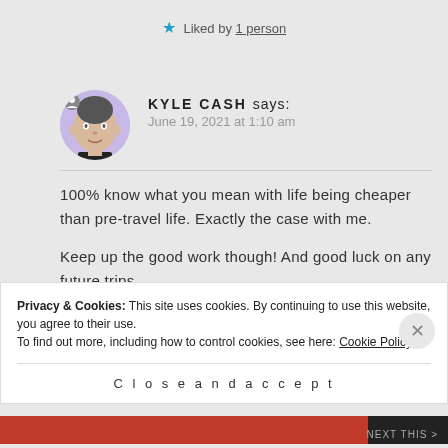★ Liked by 1 person
KYLE CASH says:
June 19, 2021 at 1:10 am
100% know what you mean with life being cheaper than pre-travel life. Exactly the case with me.

Keep up the good work though! And good luck on any future trips
Privacy & Cookies: This site uses cookies. By continuing to use this website, you agree to their use.
To find out more, including how to control cookies, see here: Cookie Policy
Close and accept